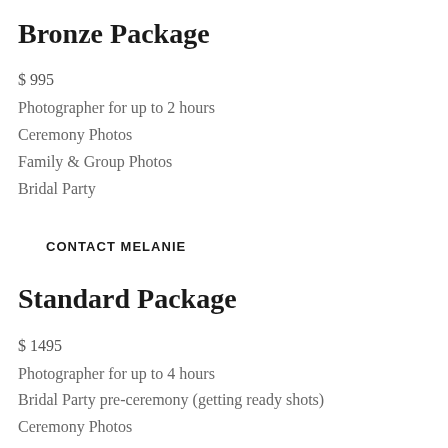Bronze Package
$ 995
Photographer for up to 2 hours
Ceremony Photos
Family & Group Photos
Bridal Party
CONTACT MELANIE
Standard Package
$ 1495
Photographer for up to 4 hours
Bridal Party pre-ceremony (getting ready shots)
Ceremony Photos